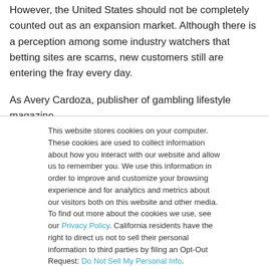However, the United States should not be completely counted out as an expansion market. Although there is a perception among some industry watchers that betting sites are scams, new customers still are entering the fray every day.
As Avery Cardoza, publisher of gambling lifestyle magazine
This website stores cookies on your computer. These cookies are used to collect information about how you interact with our website and allow us to remember you. We use this information in order to improve and customize your browsing experience and for analytics and metrics about our visitors both on this website and other media. To find out more about the cookies we use, see our Privacy Policy. California residents have the right to direct us not to sell their personal information to third parties by filing an Opt-Out Request: Do Not Sell My Personal Info.
Accept